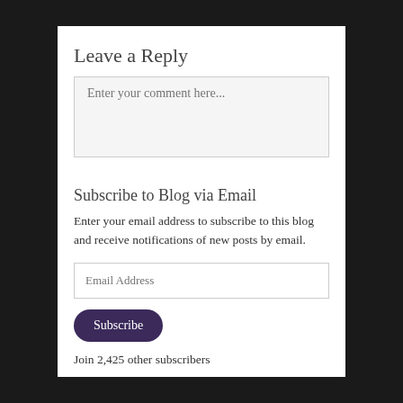Leave a Reply
Enter your comment here...
Subscribe to Blog via Email
Enter your email address to subscribe to this blog and receive notifications of new posts by email.
Email Address
Subscribe
Join 2,425 other subscribers